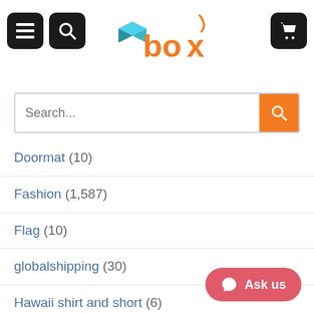[Figure (logo): Box store logo with orange and teal geometric cube and orange 'box' wordmark]
Doormat (10)
Fashion (1,587)
Flag (10)
globalshipping (30)
Hawaii shirt and short (6)
Hawaiian shirt (68)
Hawaiian short (1)
highqualityproducts (21)
Hoodie (14)